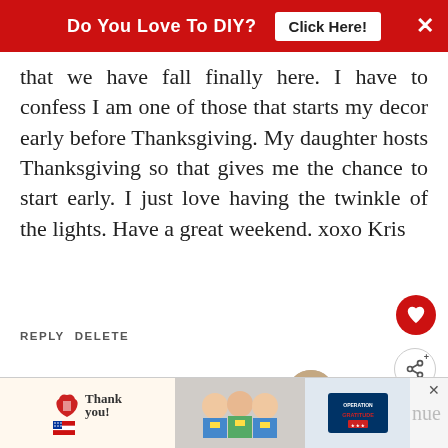Do You Love To DIY? Click Here! ×
that we have fall finally here. I have to confess I am one of those that starts my decor early before Thanksgiving. My daughter hosts Thanksgiving so that gives me the chance to start early. I just love having the twinkle of the lights. Have a great weekend. xoxo Kris
REPLY DELETE
REPLIES
WHAT'S NEXT → December Decor...And ...
Kim
NOVEMBER 5, 2021 AT 6:24 PM
[Figure (screenshot): Bottom advertisement banner showing 'Thank you!' with American flag graphic, nurses photo, and Operation Gratitude logo]